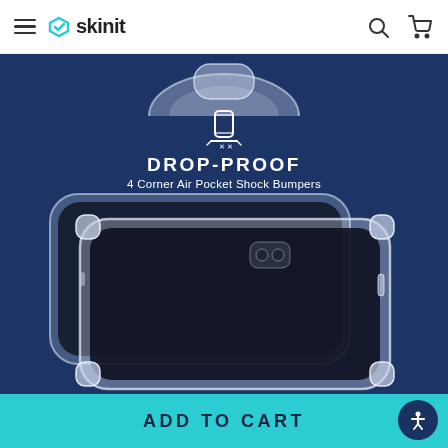skinit
[Figure (photo): Product screenshot from Skinit website showing a clear phone case with 4 Corner Air Pocket Shock Bumpers on a dark blue background, with text DROP-PROOF and '4 Corner Air Pocket Shock Bumpers'. Below is a large image of two transparent phone cases with reinforced corners displayed on a dark blue background.]
ADD TO CART